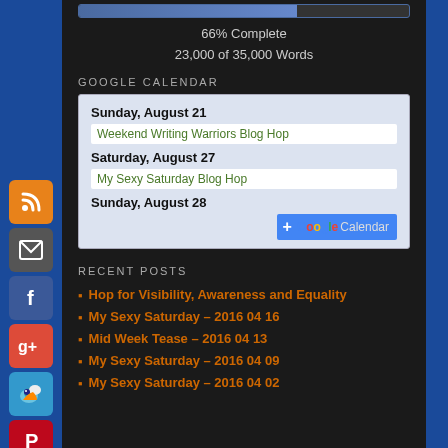66% Complete
23,000 of 35,000 Words
GOOGLE CALENDAR
[Figure (other): Google Calendar widget showing events: Sunday August 21 - Weekend Writing Warriors Blog Hop; Saturday August 27 - My Sexy Saturday Blog Hop; Sunday August 28]
RECENT POSTS
Hop for Visibility, Awareness and Equality
My Sexy Saturday – 2016 04 16
Mid Week Tease – 2016 04 13
My Sexy Saturday – 2016 04 09
My Sexy Saturday – 2016 04 02